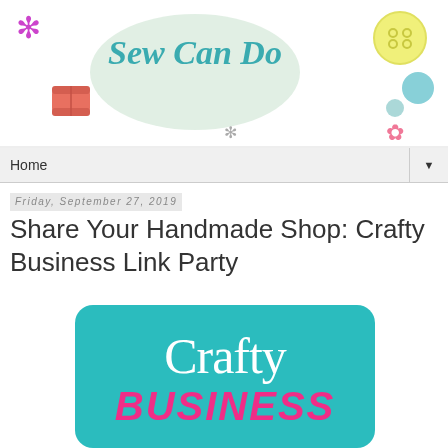[Figure (logo): Sew Can Do blog header logo with decorative crafting elements: pink asterisk, thread spool, teal cloud shape with cursive 'Sew Can Do' text, yellow button, teal circles, pink flower, gray asterisk]
Home ▼
Friday, September 27, 2019
Share Your Handmade Shop: Crafty Business Link Party
[Figure (illustration): Teal rounded rectangle with 'Crafty' in white script font and 'BUSINESS' in bold pink italic uppercase text]